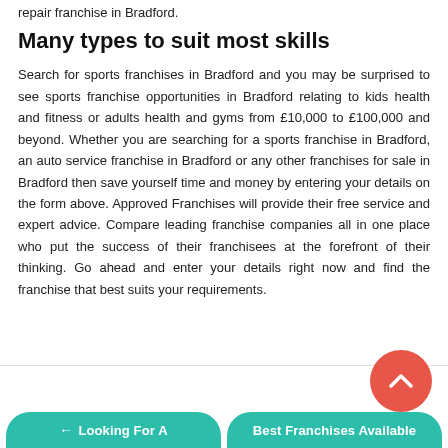repair franchise in Bradford.
Many types to suit most skills
Search for sports franchises in Bradford and you may be surprised to see sports franchise opportunities in Bradford relating to kids health and fitness or adults health and gyms from £10,000 to £100,000 and beyond. Whether you are searching for a sports franchise in Bradford, an auto service franchise in Bradford or any other franchises for sale in Bradford then save yourself time and money by entering your details on the form above. Approved Franchises will provide their free service and expert advice. Compare leading franchise companies all in one place who put the success of their franchisees at the forefront of their thinking. Go ahead and enter your details right now and find the franchise that best suits your requirements.
← Looking For A
Best Franchises Available